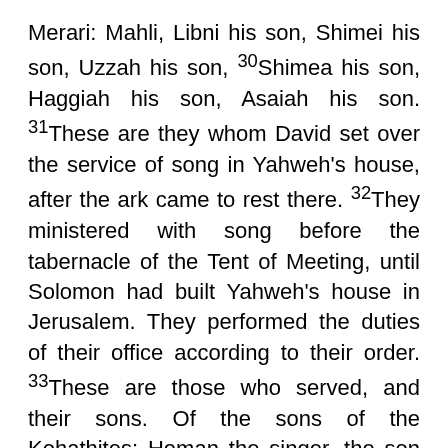Merari: Mahli, Libni his son, Shimei his son, Uzzah his son, 30Shimea his son, Haggiah his son, Asaiah his son. 31These are they whom David set over the service of song in Yahweh's house, after the ark came to rest there. 32They ministered with song before the tabernacle of the Tent of Meeting, until Solomon had built Yahweh's house in Jerusalem. They performed the duties of their office according to their order. 33These are those who served, and their sons. Of the sons of the Kohathites: Heman the singer, the son of Joel, the son of Samuel, 34the son of Elkanah, the son of Jeroham, the son of Eliel, the son of Toah, 35the son of Zuph, the son of Elkanah, the son of Mahath, the son of Amasai, 36the son of Elkanah, the son of Joel, the son of Azariah, the son of Zephaniah, 37the